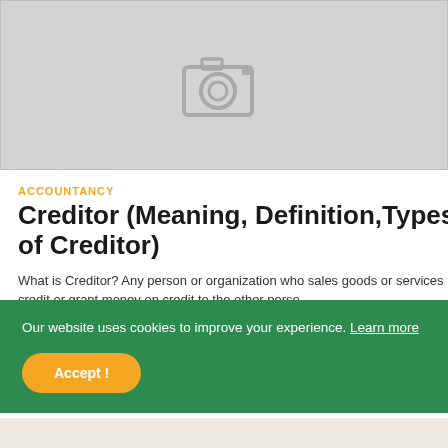[Figure (photo): Placeholder image with camera icon on light gray background]
ACCOUNTANCY
Creditor (Meaning, Definition,Types of Creditor)
What is Creditor? Any person or organization who sales goods or services in credit or grant money on credit to the other perso...
Our website uses cookies to improve your experience. Learn more
Accept !